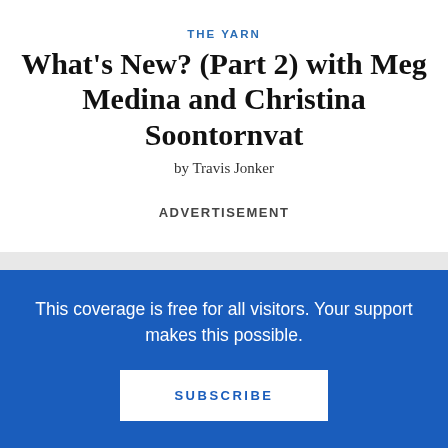THE YARN
What's New? (Part 2) with Meg Medina and Christina Soontornvat
by Travis Jonker
ADVERTISEMENT
RELATED POSTS
MARCH 2014
This coverage is free for all visitors. Your support makes this possible.
SUBSCRIBE